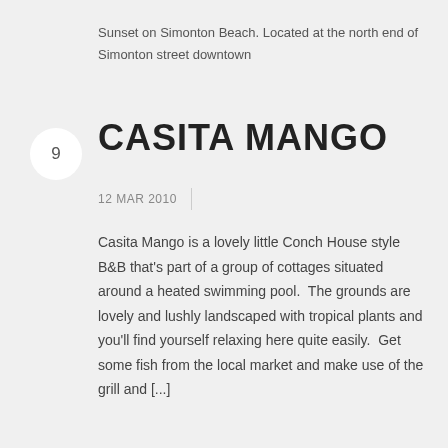Sunset on Simonton Beach. Located at the north end of Simonton street downtown
CASITA MANGO
12 MAR 2010
Casita Mango is a lovely little Conch House style B&B that's part of a group of cottages situated around a heated swimming pool.  The grounds are lovely and lushly landscaped with tropical plants and you'll find yourself relaxing here quite easily.  Get some fish from the local market and make use of the grill and [...]